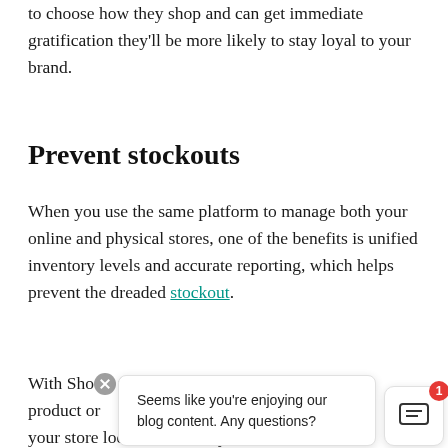to choose how they shop and can get immediate gratification they'll be more likely to stay loyal to your brand.
Prevent stockouts
When you use the same platform to manage both your online and physical stores, one of the benefits is unified inventory levels and accurate reporting, which helps prevent the dreaded stockout.
With Shopify product or your store locations and in your warehouse
[Figure (screenshot): Chat tooltip overlay with message 'Seems like you're enjoying our blog content. Any questions?' and a chat widget button with a red notification badge showing '1']